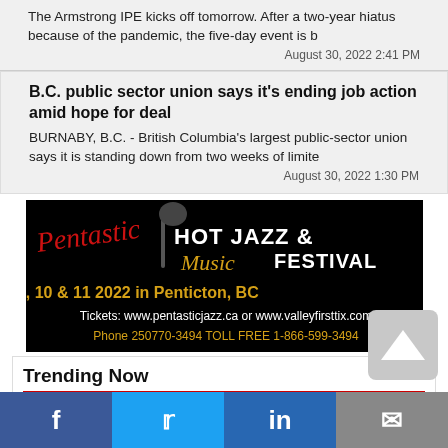The Armstrong IPE kicks off tomorrow. After a two-year hiatus because of the pandemic, the five-day event is b
August 30, 2022 2:41 PM
B.C. public sector union says it's ending job action amid hope for deal
BURNABY, B.C. - British Columbia's largest public-sector union says it is standing down from two weeks of limite
August 30, 2022 1:30 PM
[Figure (photo): Pentastic Hot Jazz & Music Festival advertisement. Black background with text: 'Pentastic HOT JAZZ & Music FESTIVAL Sept. 9, 10 & 11 2022 in Penticton, BC. Tickets: www.pentasticjazz.ca or www.valleyfirsttix.com Phone 250770-3494 TOLL FREE 1-866-599-3494']
Trending Now
[Figure (photo): Outdoor landscape photo showing green hills/grassland with rocky outcroppings and trees in background]